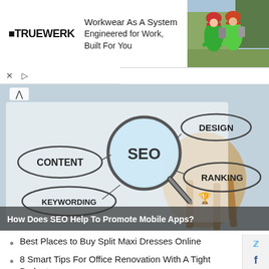[Figure (photo): Truewerk advertisement banner showing two cyclists wearing green high-vis gear with helmets. Left side shows Truewerk logo with text 'Workwear As A System, Engineered for Work, Built For You'.]
[Figure (photo): Hero image of an SEO concept illustration showing a magnifying glass over sketched words: SEO, CONTENT, KEYWORDING, DESIGN, RANKING, with a trophy/medal icon. Blurred background with furniture.]
How Does SEO Help To Promote Mobile Apps?
Best Places to Buy Split Maxi Dresses Online
8 Smart Tips For Office Renovation With A Tight Budget
4 Impactful TikTok Marketing Tactics to Amplify Busines Growth
Constitution Of Company And Relationships
5 Awesome Ideas to Make Your Party Interesting